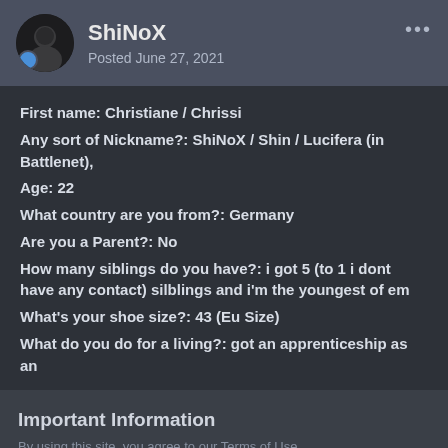ShiNoX — Posted June 27, 2021
First name: Christiane / Chrissi
Any sort of Nickname?:  ShiNoX / Shin / Lucifera (in Battlenet),
Age: 22
What country are you from?: Germany
Are you a Parent?: No
How many siblings do you have?: i got 5 (to 1 i dont have any contact) silblings and i'm the youngest of em
What's your shoe size?: 43 (Eu Size)
What do you do for a living?: got an apprenticeship as an
Important Information
By using this site, you agree to our Terms of Use.
✓  I accept